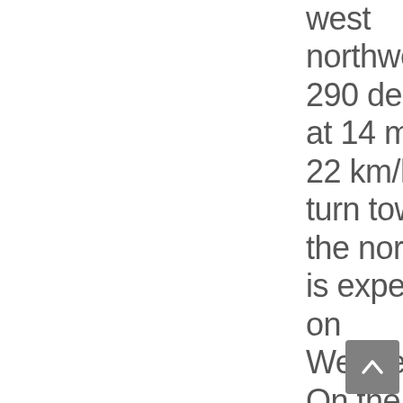west northwest or 290 degrees at 14 mph or 22 km/h.  A turn toward the northwest is expected on Wednesday.  On the forecast track, the center of Dorian is expected to pass near Saint Lucia tonight, and move over